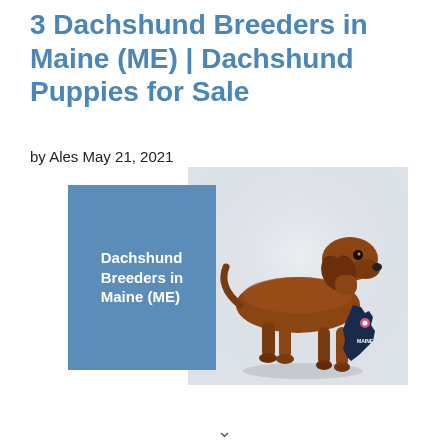3 Dachshund Breeders in Maine (ME) | Dachshund Puppies for Sale
by Ales May 21, 2021
[Figure (illustration): Composite image with a blue box on the left containing the text 'Dachshund Breeders in Maine (ME)' in white bold font, and a photo of a brown dachshund dog standing on a white/grey background with a dark navy map of Maine with a pink location pin in the lower right corner.]